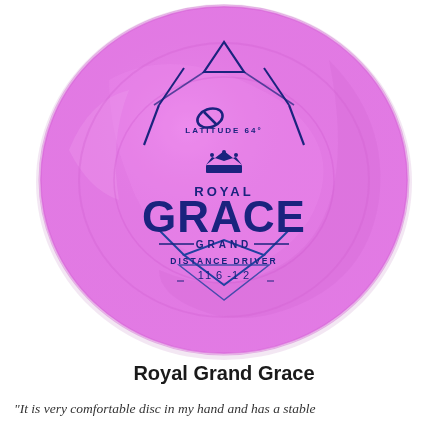[Figure (photo): A pink Latitude 64 Royal Grand Grace disc golf distance driver. The disc is pink/violet with swirled marbling. The top surface shows the Latitude 64 logo and branding, a hexagonal graphic design in dark blue, a crown symbol, the text 'ROYAL' in dark blue, 'GRACE' in large bold dark blue letters, 'GRAND' in smaller text with decorative lines, 'DISTANCE DRIVER' label, and flight numbers '11 6 -1 2'.]
Royal Grand Grace
“It is very comfortable disc in my hand and has a stable